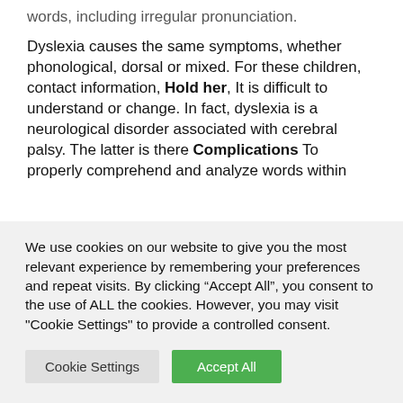words, including irregular pronunciation.
Dyslexia causes the same symptoms, whether phonological, dorsal or mixed. For these children, contact information, Hold her, It is difficult to understand or change. In fact, dyslexia is a neurological disorder associated with cerebral palsy. The latter is there Complications To properly comprehend and analyze words within
We use cookies on our website to give you the most relevant experience by remembering your preferences and repeat visits. By clicking “Accept All”, you consent to the use of ALL the cookies. However, you may visit "Cookie Settings" to provide a controlled consent.